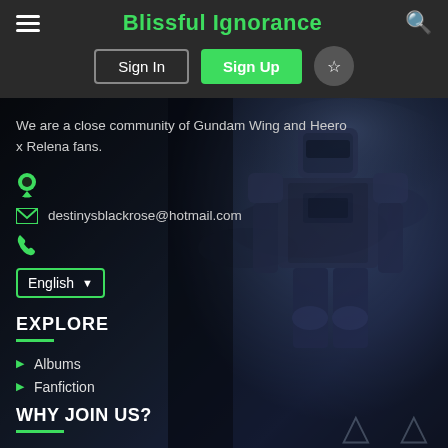Blissful Ignorance
Sign In  Sign Up
We are a close community of Gundam Wing and Heero x Relena fans.
destinysblackrose@hotmail.com
English
EXPLORE
Albums
Fanfiction
WHY JOIN US?